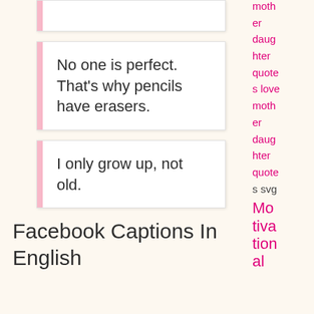No one is perfect. That’s why pencils have erasers.
I only grow up, not old.
Facebook Captions In English
mother daughter quotes love mother daughter quotes svgMotivational